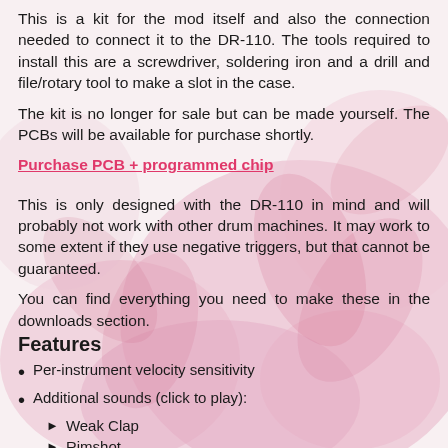This is a kit for the mod itself and also the connection needed to connect it to the DR-110. The tools required to install this are a screwdriver, soldering iron and a drill and file/rotary tool to make a slot in the case.
The kit is no longer for sale but can be made yourself. The PCBs will be available for purchase shortly.
Purchase PCB + programmed chip
This is only designed with the DR-110 in mind and will probably not work with other drum machines. It may work to some extent if they use negative triggers, but that cannot be guaranteed.
You can find everything you need to make these in the downloads section.
Features
Per-instrument velocity sensitivity
Additional sounds (click to play):
Weak Clap
Rimshot
Snare Noise*